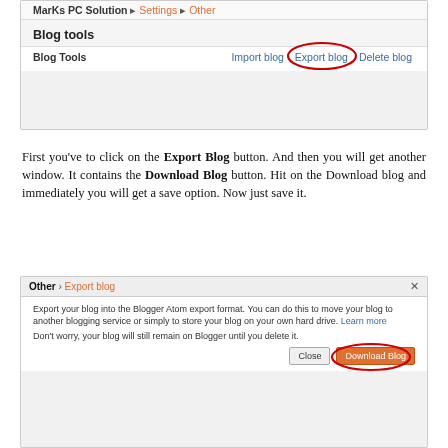[Figure (screenshot): Screenshot of Blogger Settings > Other page showing Blog Tools section with Import blog, Export blog (circled in red), Delete blog links]
First you've to click on the Export Blog button. And then you will get another window. It contains the Download Blog button. Hit on the Download blog and immediately you will get a save option. Now just save it.
[Figure (screenshot): Screenshot of Blogger Export blog dialog with Download Blog button circled in red]